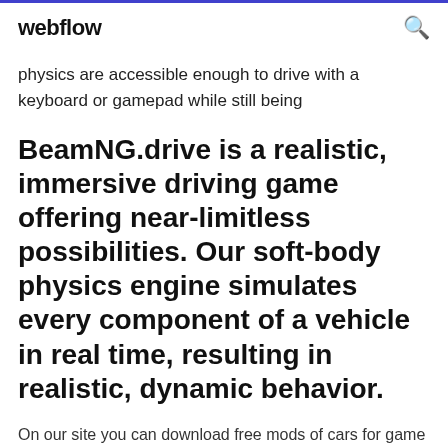webflow
physics are accessible enough to drive with a keyboard or gamepad while still being
BeamNG.drive is a realistic, immersive driving game offering near-limitless possibilities. Our soft-body physics engine simulates every component of a vehicle in real time, resulting in realistic, dynamic behavior.
On our site you can download free mods of cars for game BeamNG Drive. Download Cars for azmibishara.info for free. Automatic installation